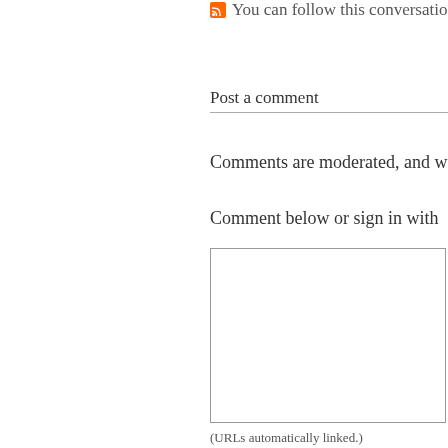You can follow this conversatio
Post a comment
Comments are moderated, and w
Comment below or sign in with
(URLs automatically linked.)
Your Information
(Name and email address are re comment.)